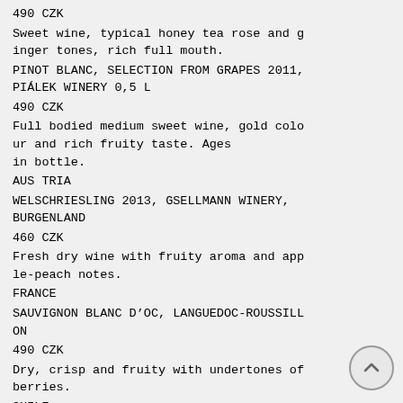490 CZK
Sweet wine, typical honey tea rose and ginger tones, rich full mouth.
PINOT BLANC, SELECTION FROM GRAPES 2011, PIÁLEK WINERY 0,5 L
490 CZK
Full bodied medium sweet wine, gold colour and rich fruity taste. Ages in bottle.
AUS TRIA
WELSCHRIESLING 2013, GSELLMANN WINERY, BURGENLAND
460 CZK
Fresh dry wine with fruity aroma and apple-peach notes.
FRANCE
SAUVIGNON BLANC D'OC, LANGUEDOC-ROUSSILLON
490 CZK
Dry, crisp and fruity with undertones of berries.
CHILE
CASA VIVA SAUVIGNON BLANC RESERVA
590 CZK